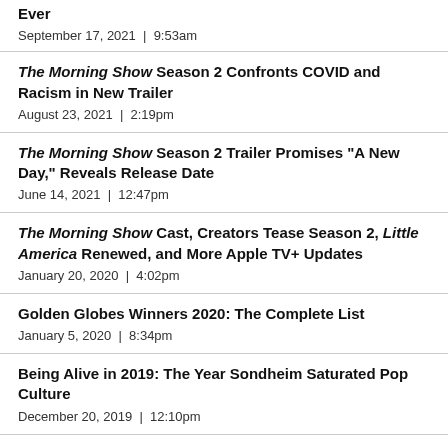Ever
September 17, 2021  |  9:53am
The Morning Show Season 2 Confronts COVID and Racism in New Trailer
August 23, 2021  |  2:19pm
The Morning Show Season 2 Trailer Promises "A New Day," Reveals Release Date
June 14, 2021  |  12:47pm
The Morning Show Cast, Creators Tease Season 2, Little America Renewed, and More Apple TV+ Updates
January 20, 2020  |  4:02pm
Golden Globes Winners 2020: The Complete List
January 5, 2020  |  8:34pm
Being Alive in 2019: The Year Sondheim Saturated Pop Culture
December 20, 2019  |  12:10pm
The Morning Show Made a Bold Finale Choice, but